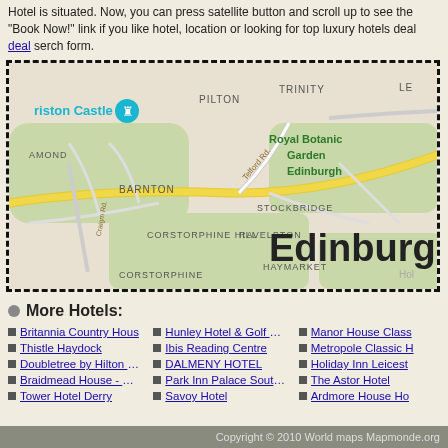Hotel is situated. Now, you can press satellite button and scroll up to see the "Book Now!" link if you like hotel, location or looking for top luxury hotels deal deal serch form.
[Figure (map): Google Maps view of Edinburgh area showing Barnton, Corstorphine Hill, Ravelston, Stockbridge, Royal Botanic Garden Edinburgh, Haymarket, Corstorphine, Pilton, Trinity neighborhoods with roads including Ferry Rd and Telford Rd. Craigmillar Castle marker visible. Large Edinburgh label in lower right.]
More Hotels:
Britannia Country House
Thistle Haydock
Doubletree by Hilton Du
Braidmead House - Hot
Tower Hotel Derry
Hunley Hotel & Golf Clu
Ibis Reading Centre
DALMENY HOTEL
Park Inn Palace Southe
Savoy Hotel
Manor House Class
Metropole Classic H
Holiday Inn Leicest
The Astor Hotel
Ardmore House Ho
Copyright © 2010 World maps Mapmonde.org